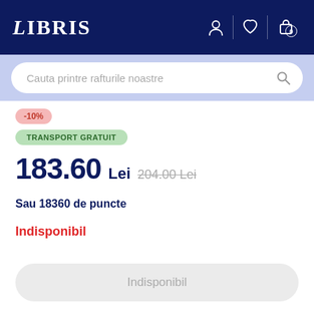LIBRIS
Cauta printre rafturile noastre
-10%
TRANSPORT GRATUIT
183.60 Lei  204.00 Lei
Sau 18360 de puncte
Indisponibil
Indisponibil